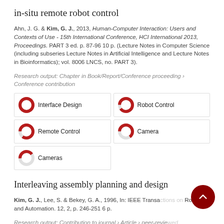in-situ remote robot control
Ahn, J. G. & Kim, G. J., 2013, Human-Computer Interaction: Users and Contexts of Use - 15th International Conference, HCI International 2013, Proceedings. PART 3 ed. p. 87-96 10 p. (Lecture Notes in Computer Science (including subseries Lecture Notes in Artificial Intelligence and Lecture Notes in Bioinformatics); vol. 8006 LNCS, no. PART 3).
Research output: Chapter in Book/Report/Conference proceeding › Conference contribution
[Figure (infographic): Five keyword badges with donut/pie chart indicators showing percentage fill: Interface Design (100%), Robot Control (~90%), Remote Control (~85%), Camera (~65%), Cameras (~40%)]
Interleaving assembly planning and design
Kim, G. J., Lee, S. & Bekey, G. A., 1996, In: IEEE Transactions on Robotics and Automation. 12, 2, p. 246-251 6 p.
Research output: Contribution to journal › Article › peer-reviewed